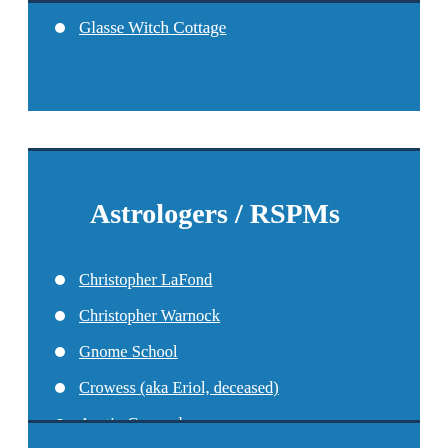Glasse Witch Cottage
Astrologers / RSPMs
Christopher LaFond
Christopher Warnock
Gnome School
Crowess (aka Eriol, deceased)
Austin Coppock
Enchants Earth
Divine Androgyne